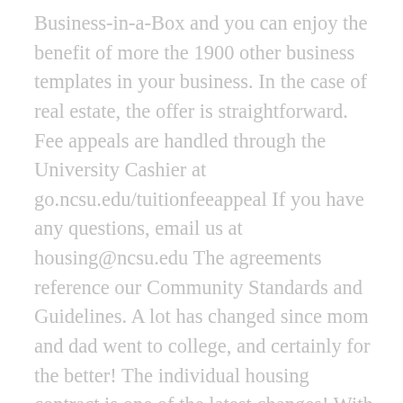Business-in-a-Box and you can enjoy the benefit of more the 1900 other business templates in your business. In the case of real estate, the offer is straightforward. Fee appeals are handled through the University Cashier at go.ncsu.edu/tuitionfeeappeal If you have any questions, email us at housing@ncsu.edu The agreements reference our Community Standards and Guidelines. A lot has changed since mom and dad went to college, and certainly for the better! The individual housing contract is one of the latest changes! With this type of agreement, you are only responsible for your students installment payments. Youre not liable for the roommates payments at all! Unlike a traditional or a joint housing contract, if your roommate transfers or graduates, you have nothing to worry about. A lot of places here in Raleigh still offer joint housing contracts dont fall for it! It can become a major headache overnight! It depends and can vary from year to year (ncsu